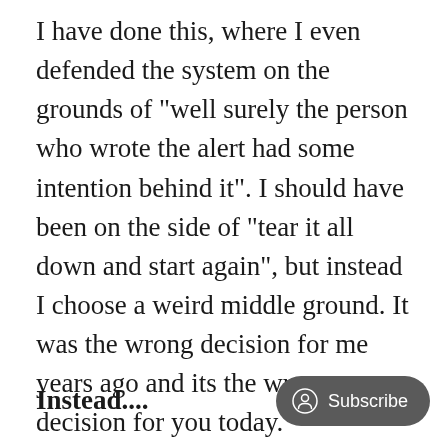I have done this, where I even defended the system on the grounds of "well surely the person who wrote the alert had some intention behind it". I should have been on the side of "tear it all down and start again", but instead I choose a weird middle ground. It was the wrong decision for me years ago and its the wrong decision for you today.
Instead....
[Figure (other): Subscribe button with user/person icon, rounded pill shape, dark gray background, white text reading 'Subscribe']